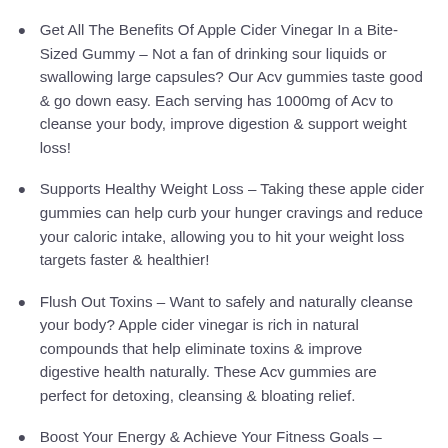Get All The Benefits Of Apple Cider Vinegar In a Bite-Sized Gummy – Not a fan of drinking sour liquids or swallowing large capsules? Our Acv gummies taste good & go down easy. Each serving has 1000mg of Acv to cleanse your body, improve digestion & support weight loss!
Supports Healthy Weight Loss – Taking these apple cider gummies can help curb your hunger cravings and reduce your caloric intake, allowing you to hit your weight loss targets faster & healthier!
Flush Out Toxins – Want to safely and naturally cleanse your body? Apple cider vinegar is rich in natural compounds that help eliminate toxins & improve digestive health naturally. These Acv gummies are perfect for detoxing, cleansing & bloating relief.
Boost Your Energy & Achieve Your Fitness Goals –